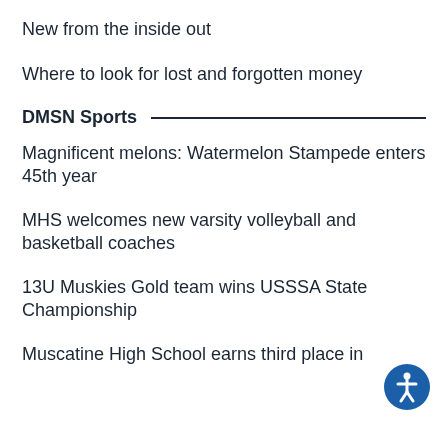New from the inside out
Where to look for lost and forgotten money
DMSN Sports
Magnificent melons: Watermelon Stampede enters 45th year
MHS welcomes new varsity volleyball and basketball coaches
13U Muskies Gold team wins USSSA State Championship
Muscatine High School earns third place in